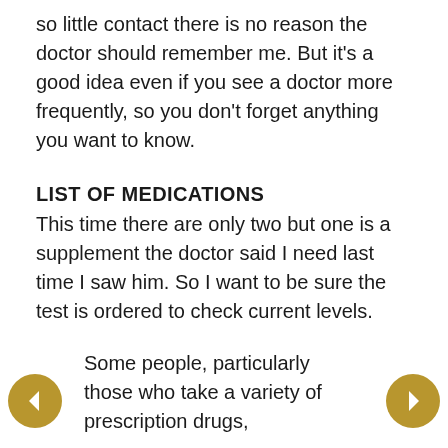so little contact there is no reason the doctor should remember me. But it's a good idea even if you see a doctor more frequently, so you don't forget anything you want to know.
LIST OF MEDICATIONS
This time there are only two but one is a supplement the doctor said I need last time I saw him. So I want to be sure the test is ordered to check current levels.
Some people, particularly those who take a variety of prescription drugs,